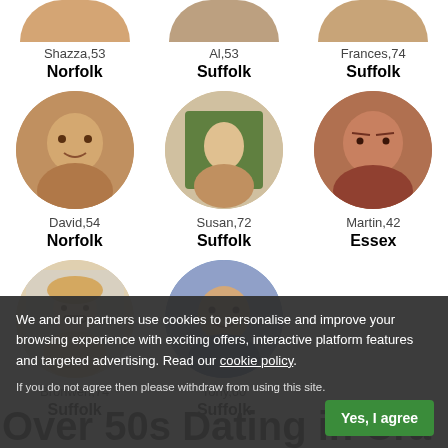[Figure (photo): Profile grid of dating site users. Top row (partially visible): Shazza 53 Norfolk, Al 53 Suffolk, Frances 74 Suffolk. Middle row: David 54 Norfolk, Susan 72 Suffolk, Martin 42 Essex. Bottom row (partial): Bronwen 74 Suffolk, Tony 60 Suffolk.]
Shazza,53
Norfolk
Al,53
Suffolk
Frances,74
Suffolk
David,54
Norfolk
Susan,72
Suffolk
Martin,42
Essex
Bronwen,74
Suffolk
Tony,60
Suffolk
We and our partners use cookies to personalise and improve your browsing experience with exciting offers, interactive platform features and targeted advertising. Read our cookie policy.
If you do not agree then please withdraw from using this site.
Over 50s Dating in Cra